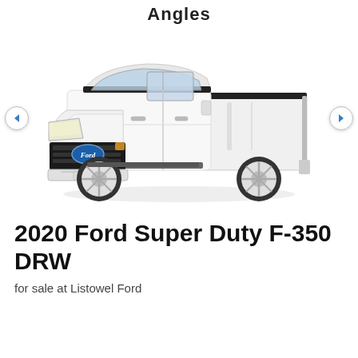Angles
[Figure (photo): White 2020 Ford Super Duty F-350 DRW pickup truck shown from a front three-quarter angle. The truck is white with a black grille featuring a blue Ford oval logo, chrome bumper, and chrome wheels. Navigation arrows appear on the left and right sides of the image.]
2020 Ford Super Duty F-350 DRW
for sale at Listowel Ford